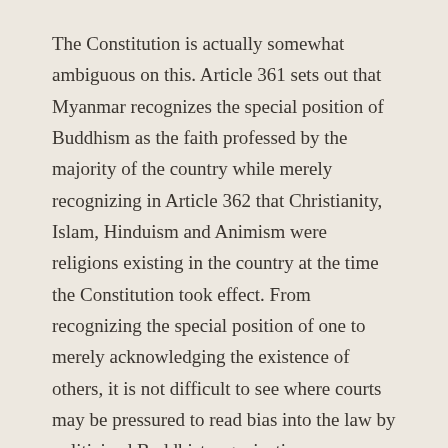The Constitution is actually somewhat ambiguous on this. Article 361 sets out that Myanmar recognizes the special position of Buddhism as the faith professed by the majority of the country while merely recognizing in Article 362 that Christianity, Islam, Hinduism and Animism were religions existing in the country at the time the Constitution took effect. From recognizing the special position of one to merely acknowledging the existence of others, it is not difficult to see where courts may be pressured to read bias into the law by politicized Buddhist organizations.
That such groups are as much political as religious should, however, raise a major Constitutional concern. Article 364 forbids the abuse of religion for political purposes. In light of Ma Ba Tha's role in drafting the recent so-called Protection of Race and Religion laws and